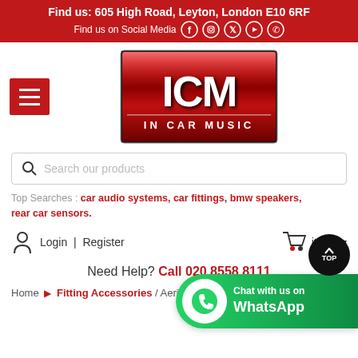Find us: 605 High Road, Leyton, London E10 6RF
Find us on Social Media
[Figure (logo): ICM In Car Music logo - red metallic background with white text]
Search our products
Top Searches : car audio systems, car fittings, bmw speakers, rear car sensors.
Login | Register
items
Need Help? Call 020 8558 8111
Home > Fitting Accessories / Aerial Ada...
[Figure (infographic): WhatsApp chat button - green background with phone icon and text 'Chat with us on WhatsApp']